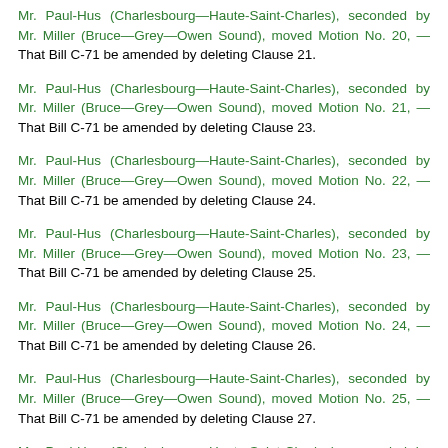Mr. Paul-Hus (Charlesbourg—Haute-Saint-Charles), seconded by Mr. Miller (Bruce—Grey—Owen Sound), moved Motion No. 20, — That Bill C-71 be amended by deleting Clause 21.
Mr. Paul-Hus (Charlesbourg—Haute-Saint-Charles), seconded by Mr. Miller (Bruce—Grey—Owen Sound), moved Motion No. 21, — That Bill C-71 be amended by deleting Clause 23.
Mr. Paul-Hus (Charlesbourg—Haute-Saint-Charles), seconded by Mr. Miller (Bruce—Grey—Owen Sound), moved Motion No. 22, — That Bill C-71 be amended by deleting Clause 24.
Mr. Paul-Hus (Charlesbourg—Haute-Saint-Charles), seconded by Mr. Miller (Bruce—Grey—Owen Sound), moved Motion No. 23, — That Bill C-71 be amended by deleting Clause 25.
Mr. Paul-Hus (Charlesbourg—Haute-Saint-Charles), seconded by Mr. Miller (Bruce—Grey—Owen Sound), moved Motion No. 24, — That Bill C-71 be amended by deleting Clause 26.
Mr. Paul-Hus (Charlesbourg—Haute-Saint-Charles), seconded by Mr. Miller (Bruce—Grey—Owen Sound), moved Motion No. 25, — That Bill C-71 be amended by deleting Clause 27.
Mr. Paul-Hus (Charlesbourg—Haute-Saint-Charles), seconded by Mr. Miller (Bruce—Grey—Owen Sound), moved Motion No. 26, — That Bill C-71 be amended by deleting Clause 28.
Mr. Paul-Hus (Charlesbourg—Haute-Saint-Charles), seconded by Mr. Miller (Bruce—Grey—Owen Sound), moved Motion No. 27, — That Bill C-71 be amended by deleting Clause 29.